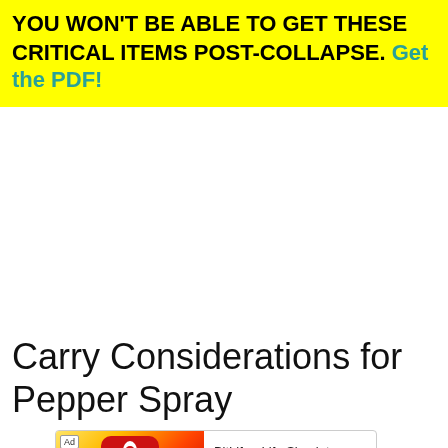YOU WON'T BE ABLE TO GET THESE CRITICAL ITEMS POST-COLLAPSE. Get the PDF!
Carry Considerations for Pepper Spray
[Figure (screenshot): Advertisement banner for BitLife - Life Simulator mobile game with Install button]